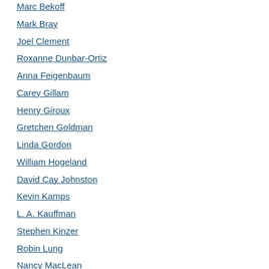Marc Bekoff
Mark Bray
Joel Clement
Roxanne Dunbar-Ortiz
Anna Feigenbaum
Carey Gillam
Henry Giroux
Gretchen Goldman
Linda Gordon
William Hogeland
David Cay Johnston
Kevin Kamps
L. A. Kauffman
Stephen Kinzer
Robin Lung
Nancy MacLean
Benjamin Madley
Anne Makepeace & Judge Abby Abinanti
Keith McCafferty